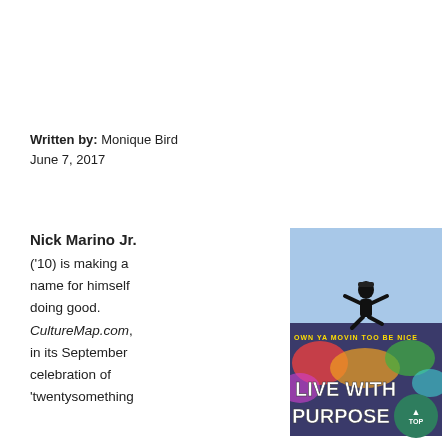Written by: Monique Bird
June 7, 2017
Nick Marino Jr. ('10) is making a name for himself doing good. CultureMap.com, in its September celebration of 'twentysomething
[Figure (photo): Man jumping in the air above a graffiti mural reading 'LIVE WITH PURPOSE', wearing all black. Mural also shows text 'OWN YA MOVIN TOO MUCH BE NICE'.]